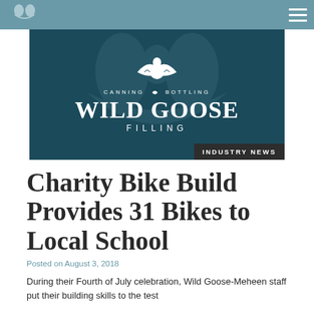Wild Goose Filling — navigation header with hamburger menu
[Figure (logo): Wild Goose Filling logo: white goose bird with spread wings above text 'CANNING * BOTTLING', large bold serif 'WILD GOOSE', and 'FILLING' on dark teal/navy background]
INDUSTRY NEWS
Charity Bike Build Provides 31 Bikes to Local School
Posted on August 3, 2018
During their Fourth of July celebration, Wild Goose-Meheen staff put their building skills to the test